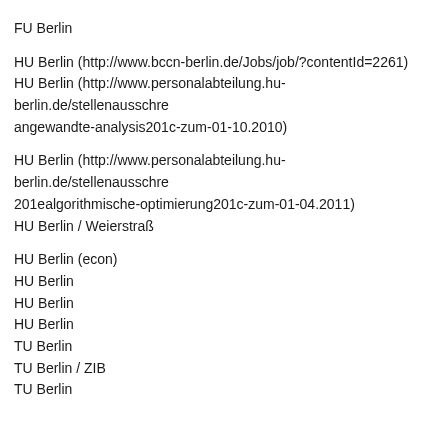FU Berlin
HU Berlin (http://www.bccn-berlin.de/Jobs/job/?contentId=2261)
HU Berlin (http://www.personalabteilung.hu-berlin.de/stellenausschre angewandte-analysis201c-zum-01-10.2010)
HU Berlin (http://www.personalabteilung.hu-berlin.de/stellenausschre 201ealgorithmische-optimierung201c-zum-01-04.2011)
HU Berlin / Weierstraß
HU Berlin (econ)
HU Berlin
HU Berlin
HU Berlin
TU Berlin
TU Berlin / ZIB
TU Berlin